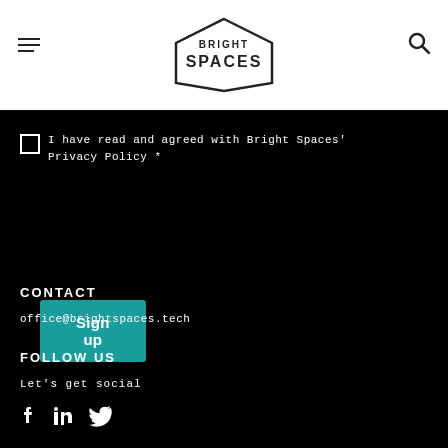BRIGHT SPACES (logo with hamburger menu and search icon)
I have read and agreed with Bright Spaces' Privacy Policy *
Sign up
CONTACT
office@brightspaces.tech
FOLLOW US
Let's get social
[Figure (illustration): Social media icons: Facebook, LinkedIn, Twitter]